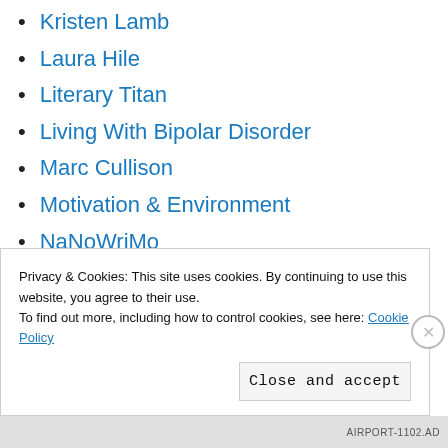Kristen Lamb
Laura Hile
Literary Titan
Living With Bipolar Disorder
Marc Cullison
Motivation & Environment
NaNoWriMo
Nature Poetry
Net Galley
Not Quite Old
Patricia Bjornstad
Privacy & Cookies: This site uses cookies. By continuing to use this website, you agree to their use.
To find out more, including how to control cookies, see here: Cookie Policy
AIRPORT-1102.AD